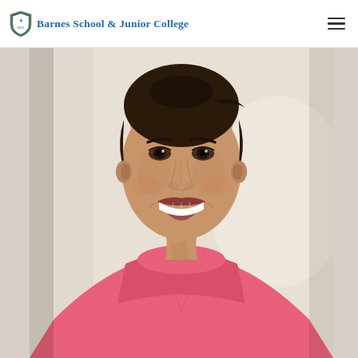Barnes School & Junior College
[Figure (photo): Portrait photo of a young woman with dark hair pulled back, wearing a pink t-shirt, smiling broadly, against a light beige/white background.]